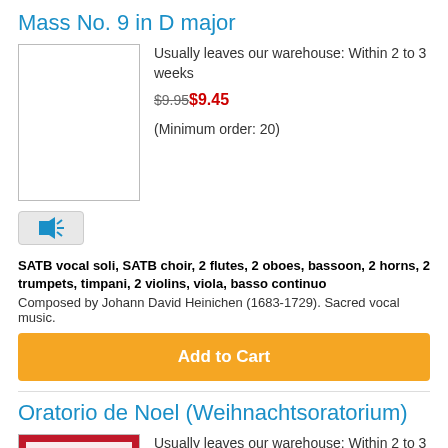Mass No. 9 in D major
[Figure (photo): Product image placeholder (white/empty book cover)]
Usually leaves our warehouse: Within 2 to 3 weeks
$9.95 $9.45
(Minimum order: 20)
[Figure (other): Audio play button with speaker icon]
SATB vocal soli, SATB choir, 2 flutes, 2 oboes, bassoon, 2 horns, 2 trumpets, timpani, 2 violins, viola, basso continuo
Composed by Johann David Heinichen (1683-1729). Sacred vocal music.
Add to Cart
Oratorio de Noel (Weihnachtsoratorium)
[Figure (photo): Red book cover with geometric diamond/triangle pattern]
Usually leaves our warehouse: Within 2 to 3 weeks
$5.95 $5.65